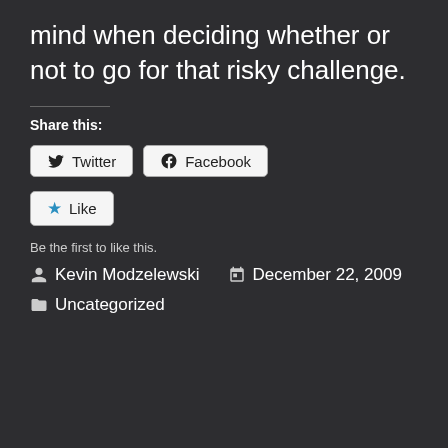mind when deciding whether or not to go for that risky challenge.
Share this:
[Figure (other): Social share buttons: Twitter and Facebook]
[Figure (other): Like button with star icon]
Be the first to like this.
Kevin Modzelewski   December 22, 2009
Uncategorized